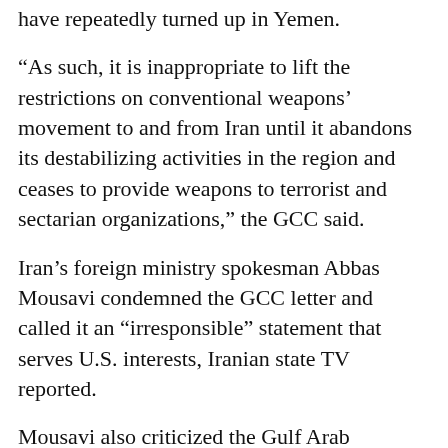have repeatedly turned up in Yemen.
“As such, it is inappropriate to lift the restrictions on conventional weapons’ movement to and from Iran until it abandons its destabilizing activities in the region and ceases to provide weapons to terrorist and sectarian organizations,” the GCC said.
Iran’s foreign ministry spokesman Abbas Mousavi condemned the GCC letter and called it an “irresponsible” statement that serves U.S. interests, Iranian state TV reported.
Mousavi also criticized the Gulf Arab countries for being “among the largest arms buyers in the region and the world,” even amid the economic downturn caused by the coronavirus pandemic.
The U.N. banned Iran from buying major foreign weapon systems in 2010 amid tensions over its nuclear program. That blocked Iran from replacing its aging equipment.